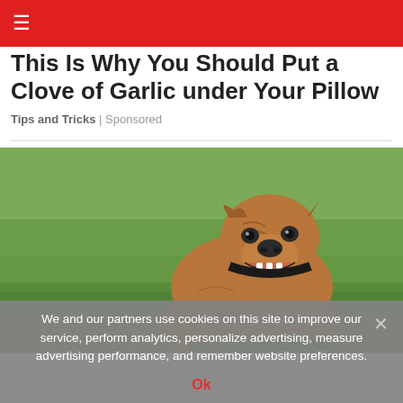≡
This Is Why You Should Put a Clove of Garlic under Your Pillow
Tips and Tricks | Sponsored
[Figure (photo): A brown Staffordshire Bull Terrier / pit bull type dog running across a green grass field, mouth open, wearing a collar, photographed from the front at low angle.]
We and our partners use cookies on this site to improve our service, perform analytics, personalize advertising, measure advertising performance, and remember website preferences.
Ok